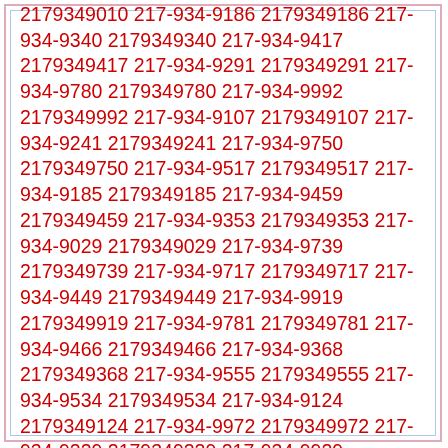2179349010 217-934-9186 2179349186 217-934-9340 2179349340 217-934-9417 2179349417 217-934-9291 2179349291 217-934-9780 2179349780 217-934-9992 2179349992 217-934-9107 2179349107 217-934-9241 2179349241 217-934-9750 2179349750 217-934-9517 2179349517 217-934-9185 2179349185 217-934-9459 2179349459 217-934-9353 2179349353 217-934-9029 2179349029 217-934-9739 2179349739 217-934-9717 2179349717 217-934-9449 2179349449 217-934-9919 2179349919 217-934-9781 2179349781 217-934-9466 2179349466 217-934-9368 2179349368 217-934-9555 2179349555 217-934-9534 2179349534 217-934-9124 2179349124 217-934-9972 2179349972 217-934-9229 2179349229 217-934-9929 2179349929 217-934-9320 2179349320 217-934-9925 2179349925 217-934-9109 2179349109 217-934-9590 2179349590 217-934-9580 2179349580 217-934-9828 2179349828 217-934-9083 2179349083 217-